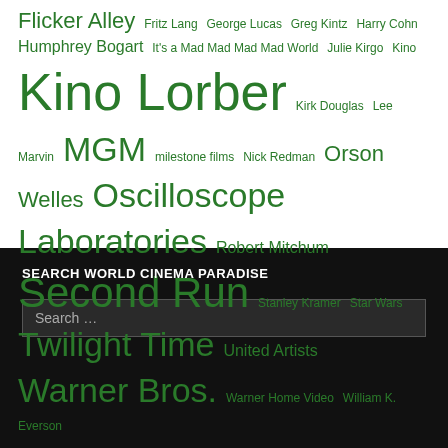Flicker Alley Fritz Lang George Lucas Greg Kintz Harry Cohn Humphrey Bogart It's a Mad Mad Mad Mad World Julie Kirgo Kino Kino Lorber Kirk Douglas Lee Marvin MGM milestone films Nick Redman Orson Welles Oscilloscope Laboratories Robert Mitchum Second Run Stanley Kramer Star Wars Twilight Time United Artists Warner Bros. Warner Home Video William K. Everson
SEARCH WORLD CINEMA PARADISE
Search …
Contact Us